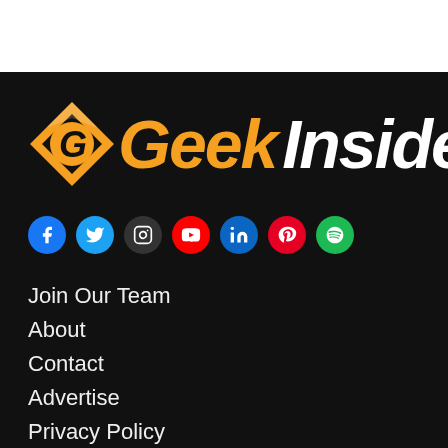[Figure (logo): Geek Insider logo: diamond shape with orange G, text 'Geek Insider' in orange and white bold italic]
[Figure (infographic): Social media icon row: Facebook, Twitter, Instagram, YouTube, LinkedIn, Pinterest, Spotify]
Join Our Team
About
Contact
Advertise
Privacy Policy